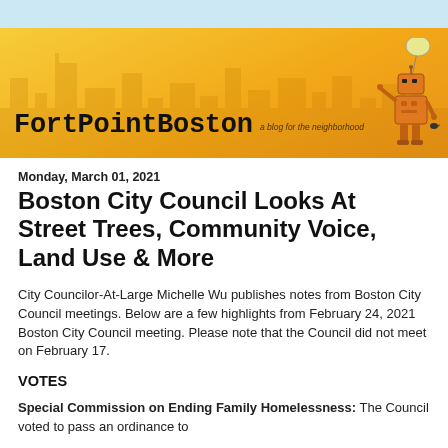[Figure (illustration): FortPointBoston blog banner with orange/yellow gradient background, faded cityscape silhouette, blog title in typewriter font, subtitle 'a blog for the neighborhood', and an illustrated robot holding a balloon on the right side.]
Monday, March 01, 2021
Boston City Council Looks At Street Trees, Community Voice, Land Use & More
City Councilor-At-Large Michelle Wu publishes notes from Boston City Council meetings. Below are a few highlights from February 24, 2021 Boston City Council meeting. Please note that the Council did not meet on February 17.
VOTES
Special Commission on Ending Family Homelessness: The Council voted to pass an ordinance to